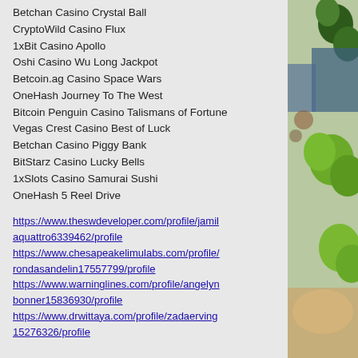Betchan Casino Crystal Ball
CryptoWild Casino Flux
1xBit Casino Apollo
Oshi Casino Wu Long Jackpot
Betcoin.ag Casino Space Wars
OneHash Journey To The West
Bitcoin Penguin Casino Talismans of Fortune
Vegas Crest Casino Best of Luck
Betchan Casino Piggy Bank
BitStarz Casino Lucky Bells
1xSlots Casino Samurai Sushi
OneHash 5 Reel Drive
https://www.theswdeveloper.com/profile/jamilaquattro6339462/profile
https://www.chesapeakelimulabs.com/profile/rondasandelin17557799/profile
https://www.warninglines.com/profile/angelynbonner15836930/profile
https://www.drwittaya.com/profile/zadaerving15276326/profile
[Figure (photo): Photo of green apples and food items on the right side of the page]